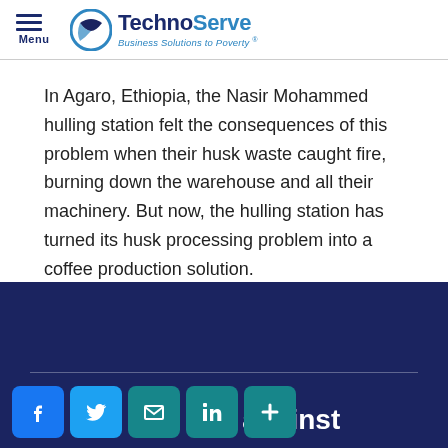Menu | TechnoServe — Business Solutions to Poverty®
In Agaro, Ethiopia, the Nasir Mohammed hulling station felt the consequences of this problem when their husk waste caught fire, burning down the warehouse and all their machinery. But now, the hulling station has turned its husk processing problem into a coffee production solution.
[Figure (other): Dark blue banner with a horizontal dividing line and partial text 'ht against' at the bottom right, with social media share buttons (Facebook, Twitter, Email, LinkedIn, Plus) overlaid at the bottom left.]